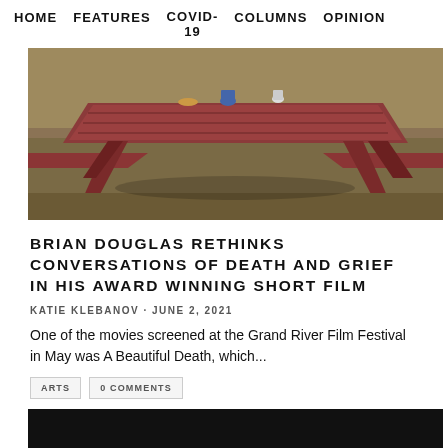HOME   FEATURES   COVID-19   COLUMNS   OPINION
[Figure (photo): Outdoor photo of a red/brown wooden picnic table with items on it, grass and dirt in background]
BRIAN DOUGLAS RETHINKS CONVERSATIONS OF DEATH AND GRIEF IN HIS AWARD WINNING SHORT FILM
KATIE KLEBANOV · JUNE 2, 2021
One of the movies screened at the Grand River Film Festival in May was A Beautiful Death, which...
ARTS
0 COMMENTS
[Figure (photo): Dark/black image, bottom of page, partially visible]